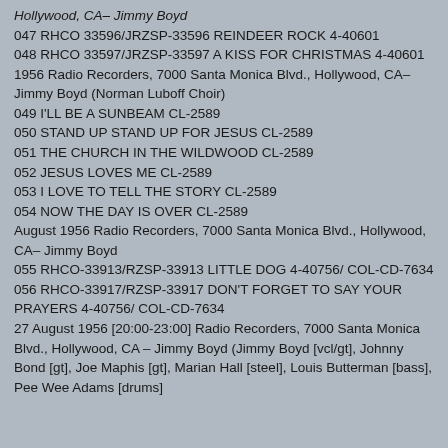Hollywood, CA– Jimmy Boyd
047 RHCO 33596/JRZSP-33596 REINDEER ROCK 4-40601
048 RHCO 33597/JRZSP-33597 A KISS FOR CHRISTMAS 4-40601
1956 Radio Recorders, 7000 Santa Monica Blvd., Hollywood, CA– Jimmy Boyd (Norman Luboff Choir)
049 I'LL BE A SUNBEAM CL-2589
050 STAND UP STAND UP FOR JESUS CL-2589
051 THE CHURCH IN THE WILDWOOD CL-2589
052 JESUS LOVES ME CL-2589
053 I LOVE TO TELL THE STORY CL-2589
054 NOW THE DAY IS OVER CL-2589
August 1956 Radio Recorders, 7000 Santa Monica Blvd., Hollywood, CA– Jimmy Boyd
055 RHCO-33913/RZSP-33913 LITTLE DOG 4-40756/ COL-CD-7634
056 RHCO-33917/RZSP-33917 DON'T FORGET TO SAY YOUR PRAYERS 4-40756/ COL-CD-7634
27 August 1956 [20:00-23:00] Radio Recorders, 7000 Santa Monica Blvd., Hollywood, CA – Jimmy Boyd (Jimmy Boyd [vcl/gt], Johnny Bond [gt], Joe Maphis [gt], Marian Hall [steel], Louis Butterman [bass], Pee Wee Adams [drums]